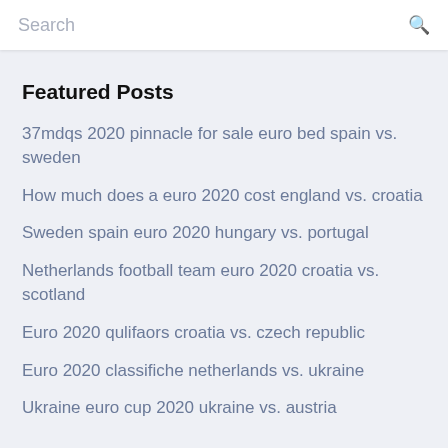Search
Featured Posts
37mdqs 2020 pinnacle for sale euro bed spain vs. sweden
How much does a euro 2020 cost england vs. croatia
Sweden spain euro 2020 hungary vs. portugal
Netherlands football team euro 2020 croatia vs. scotland
Euro 2020 qulifaors croatia vs. czech republic
Euro 2020 classifiche netherlands vs. ukraine
Ukraine euro cup 2020 ukraine vs. austria